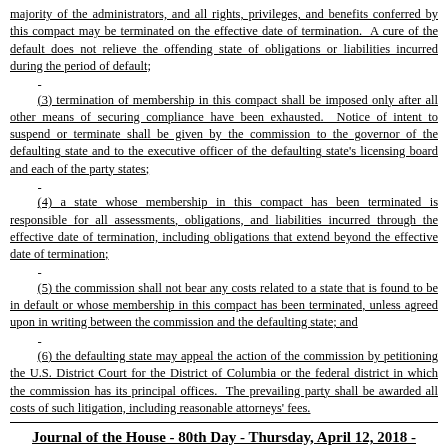majority of the administrators, and all rights, privileges, and benefits conferred by this compact may be terminated on the effective date of termination. A cure of the default does not relieve the offending state of obligations or liabilities incurred during the period of default;
(3) termination of membership in this compact shall be imposed only after all other means of securing compliance have been exhausted. Notice of intent to suspend or terminate shall be given by the commission to the governor of the defaulting state and to the executive officer of the defaulting state's licensing board and each of the party states;
(4) a state whose membership in this compact has been terminated is responsible for all assessments, obligations, and liabilities incurred through the effective date of termination, including obligations that extend beyond the effective date of termination;
(5) the commission shall not bear any costs related to a state that is found to be in default or whose membership in this compact has been terminated, unless agreed upon in writing between the commission and the defaulting state; and
(6) the defaulting state may appeal the action of the commission by petitioning the U.S. District Court for the District of Columbia or the federal district in which the commission has its principal offices. The prevailing party shall be awarded all costs of such litigation, including reasonable attorneys' fees.
Journal of the House - 80th Day - Thursday, April 12, 2018 - Top of Page 8098
(c) Dispute resolution: